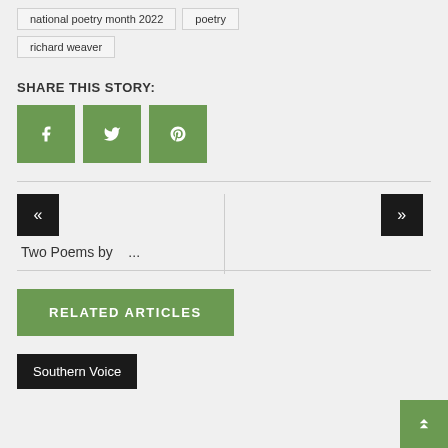national poetry month 2022
poetry
richard weaver
SHARE THIS STORY:
[Figure (infographic): Three green social share buttons: Facebook (f), Twitter (bird icon), Pinterest (p)]
Two Poems by ...
RELATED ARTICLES
Southern Voice